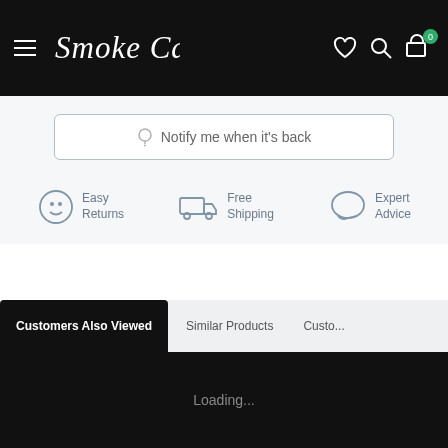Smoke Cartel
Notify me when it's back
Easy Returns
Free Shipping
Expert Advice
Customers Also Viewed
Similar Products
Custo...
Loading...